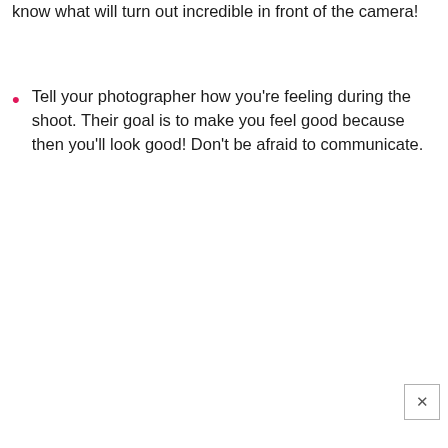know what will turn out incredible in front of the camera!
Tell your photographer how you're feeling during the shoot. Their goal is to make you feel good because then you'll look good! Don't be afraid to communicate.